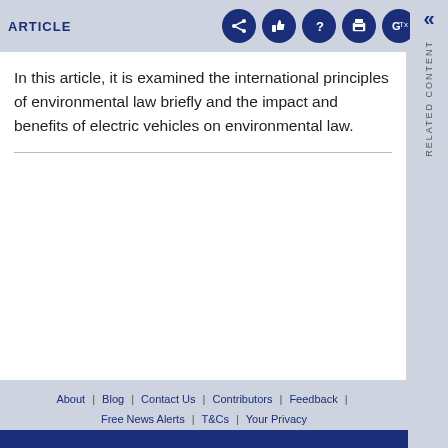ARTICLE
In this article, it is examined the international principles of environmental law briefly and the impact and benefits of electric vehicles on environmental law.
About | Blog | Contact Us | Contributors | Feedback | Free News Alerts | T&Cs | Your Privacy
Powered by Mondaq AI
© Mondaq® Ltd 1994 - 2022. All Rights Reserved.